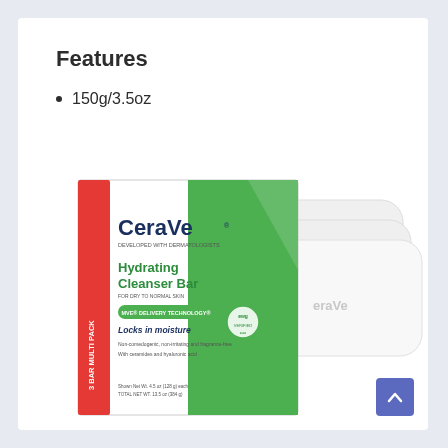Features
150g/3.5oz
[Figure (photo): CeraVe Hydrating Cleanser Bar 3-Bar Multi Pack product box with green and white design, alongside three white bar soaps. Box text includes: CeraVe, Developed with Dermatologists, Hydrating Cleanser Bar, For Dry to Normal Skin, MVE Delivery Technology, Locks in moisture, Non-comedogenic, non-irritating and fragrance-free, With ceramides and hyaluronic acid. 3 BAR MULTI PACK printed vertically on side.]